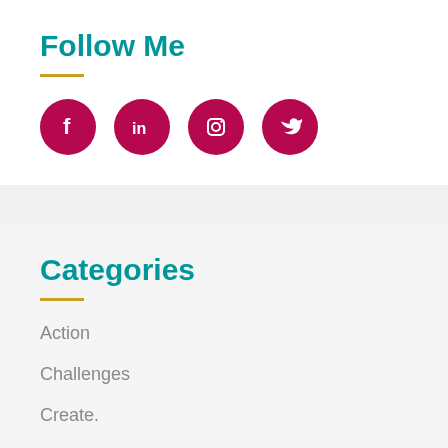Follow Me
[Figure (infographic): Four social media icons in crimson circles: Facebook (f), LinkedIn (in), Instagram (camera), Twitter (bird)]
Categories
Action
Challenges
Create.
Getting Started